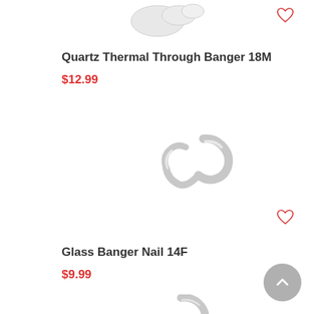[Figure (photo): Partial product image of Quartz Thermal Through Banger 18M at top of page, cropped]
♡
Quartz Thermal Through Banger 18M
$12.99
[Figure (photo): Clear glass banger nail product image - Glass Banger Nail 14F]
♡
Glass Banger Nail 14F
$9.99
[Figure (photo): Partial product image at bottom of page, cropped]
[Figure (other): Back to top button - grey circle with upward chevron arrow]